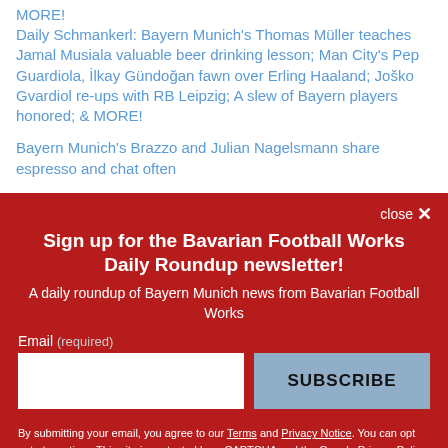MORE!
Daily Schmankerl: Bayern Munich's Thomas Müller teaches Jamal Musiala valuable beer drinking lesson; Man City's Pep Guardiola, İlkay Gündoğan fawn over Erling Haaland; Joško Gvardiol re-ups with RB Leipzig; A slew of Bayern players honored; & MORE!
Bayern Munich's Brazzo and Julian Nagelsmann share espresso and chat often
close ×
Sign up for the Bavarian Football Works Daily Roundup newsletter!
A daily roundup of Bayern Munich news from Bavarian Football Works
Email (required)
SUBSCRIBE
By submitting your email, you agree to our Terms and Privacy Notice. You can opt out at any time. This site is protected by reCAPTCHA and the Google Privacy Policy and Terms of Service apply.